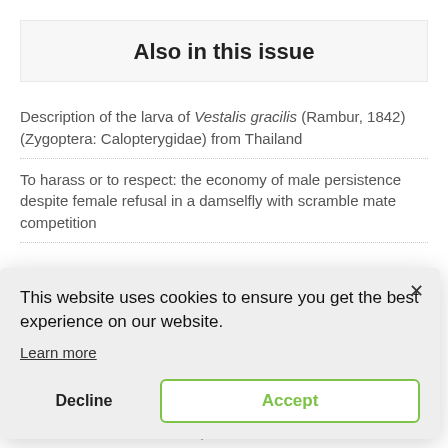Also in this issue
Description of the larva of Vestalis gracilis (Rambur, 1842) (Zygoptera: Calopterygidae) from Thailand
To harass or to respect: the economy of male persistence despite female refusal in a damselfly with scramble mate competition
...dae ...s
This website uses cookies to ensure you get the best experience on our website.
Learn more
Decline
Accept
...ical island streams in San Juan, Puerto Rico